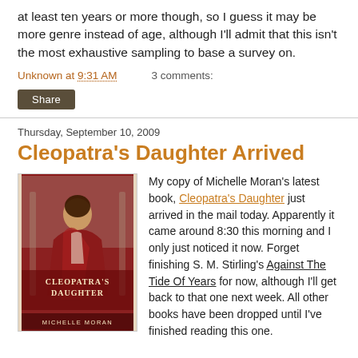at least ten years or more though, so I guess it may be more genre instead of age, although I'll admit that this isn't the most exhaustive sampling to base a survey on.
Unknown at 9:31 AM    3 comments:
Share
Thursday, September 10, 2009
Cleopatra's Daughter Arrived
[Figure (photo): Book cover of Cleopatra's Daughter by Michelle Moran, showing a woman in a red robe against a light background with the title text on the cover.]
My copy of Michelle Moran's latest book, Cleopatra's Daughter just arrived in the mail today. Apparently it came around 8:30 this morning and I only just noticed it now. Forget finishing S. M. Stirling's Against The Tide Of Years for now, although I'll get back to that one next week. All other books have been dropped until I've finished reading this one.